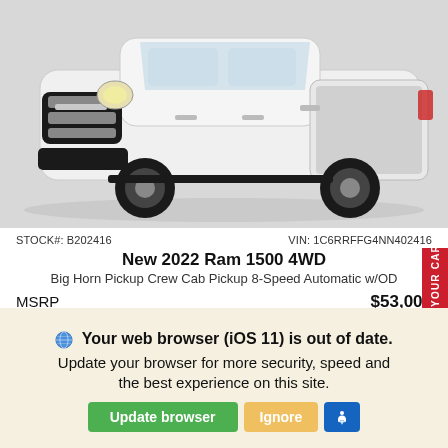[Figure (photo): White 2022 Ram 1500 4WD pickup truck, front three-quarter view on white background]
STOCK#: B202416    VIN: 1C6RRFFG4NN402416
New 2022 Ram 1500 4WD
Big Horn Pickup Crew Cab Pickup 8-Speed Automatic w/OD
MSRP    $53,000
Net Price    $47,750
SELL US YOUR CAR
Your web browser (iOS 11) is out of date. Update your browser for more security, speed and the best experience on this site.
Update browser   Ignore   [accessibility icon]